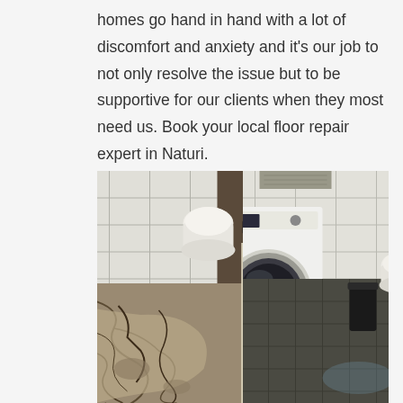homes go hand in hand with a lot of discomfort and anxiety and it's our job to not only resolve the issue but to be supportive for our clients when they most need us. Book your local floor repair expert in Naturi.
[Figure (photo): Two side-by-side bathroom photos. Left: a damaged bathroom floor with cracked and broken concrete/screed, a toilet and brush visible in the background. Right: the same or similar bathroom after repair, showing dark tile floor, a washing machine, toilet, and trash bin.]